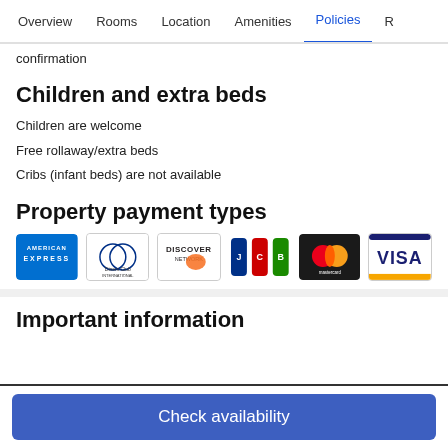Overview  Rooms  Location  Amenities  Policies  R
confirmation
Children and extra beds
Children are welcome
Free rollaway/extra beds
Cribs (infant beds) are not available
Property payment types
[Figure (logo): Payment card logos: American Express, Diners Club International, Discover Network, JCB, Mastercard, Visa]
Important information
Check availability